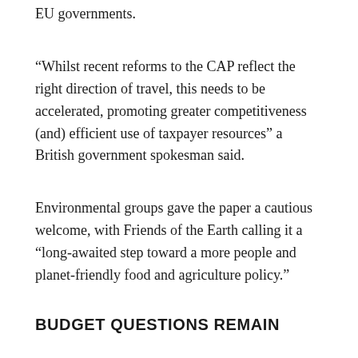EU governments.
“Whilst recent reforms to the CAP reflect the right direction of travel, this needs to be accelerated, promoting greater competitiveness (and) efficient use of taxpayer resources” a British government spokesman said.
Environmental groups gave the paper a cautious welcome, with Friends of the Earth calling it a “long-awaited step toward a more people and planet-friendly food and agriculture policy.”
BUDGET QUESTIONS REMAIN